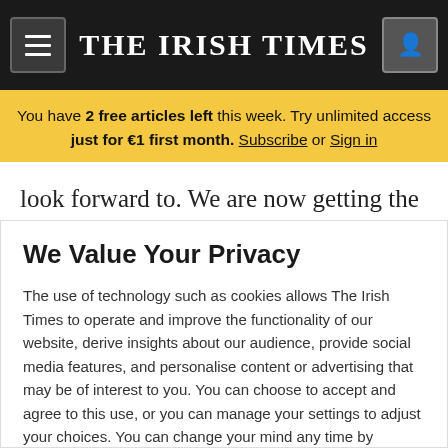THE IRISH TIMES
You have 2 free articles left this week. Try unlimited access just for €1 first month. Subscribe or Sign in
look forward to. We are now getting the
We Value Your Privacy
The use of technology such as cookies allows The Irish Times to operate and improve the functionality of our website, derive insights about our audience, provide social media features, and personalise content or advertising that may be of interest to you. You can choose to accept and agree to this use, or you can manage your settings to adjust your choices. You can change your mind any time by returning to this site. If you do not allow certain cookies some areas of this site may not function as intended. To find out more please